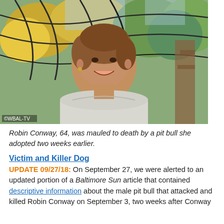[Figure (photo): A middle-aged woman with short brown hair, smiling, wearing a light gray shirt, photographed outdoors in front of a garden trellis with autumn trees. Watermark reads © WBAL-TV.]
Robin Conway, 64, was mauled to death by a pit bull she adopted two weeks earlier.
Victim and Killer Dog
UPDATE 09/27/18: On September 27, we were alerted to an updated portion of a Baltimore Sun article that contained descriptive information about the male pit bull that attacked and killed Robin Conway on September 3, two weeks after Conway